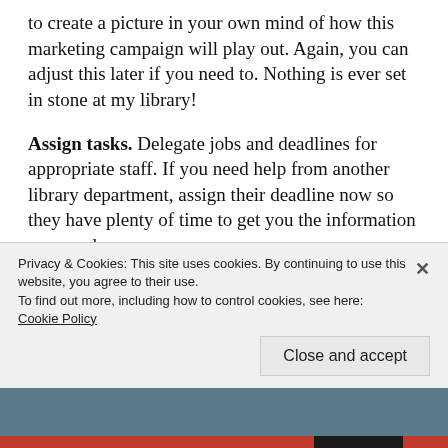to create a picture in your own mind of how this marketing campaign will play out. Again, you can adjust this later if you need to. Nothing is ever set in stone at my library!
Assign tasks. Delegate jobs and deadlines for appropriate staff. If you need help from another library department, assign their deadline now so they have plenty of time to get you the information you need.
Measure results. Don't forget to measure and record the reaction to each piece of your marketing plan. Analyze what worked
Privacy & Cookies: This site uses cookies. By continuing to use this website, you agree to their use.
To find out more, including how to control cookies, see here: Cookie Policy
Close and accept